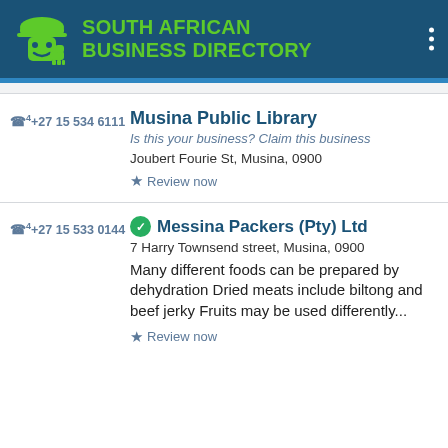SOUTH AFRICAN BUSINESS DIRECTORY
+27 15 534 6111
Musina Public Library
Is this your business? Claim this business
Joubert Fourie St, Musina, 0900
Review now
+27 15 533 0144
Messina Packers (Pty) Ltd
7 Harry Townsend street, Musina, 0900
Many different foods can be prepared by dehydration Dried meats include biltong and beef jerky Fruits may be used differently...
Review now